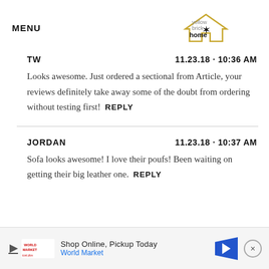MENU | yellow brick home logo
TW  11.23.18 · 10:36 AM
Looks awesome. Just ordered a sectional from Article, your reviews definitely take away some of the doubt from ordering without testing first!  REPLY
JORDAN  11.23.18 · 10:37 AM
Sofa looks awesome! I love their poufs! Been waiting on getting their big leather one.  REPLY
[Figure (screenshot): Advertisement banner: Shop Online, Pickup Today - World Market with play icon, logo, and navigation arrow]